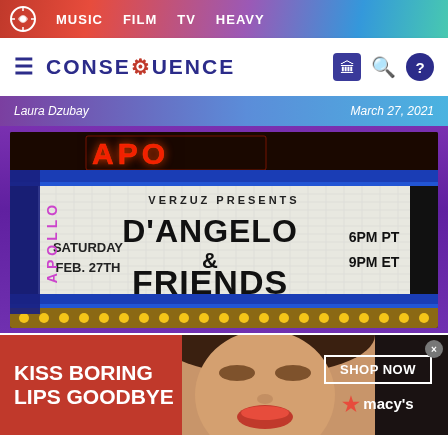MUSIC  FILM  TV  HEAVY
[Figure (logo): Consequence of Sound site logo with hamburger menu and icons]
Laura Dzubay
March 27, 2021
[Figure (photo): Apollo Theater marquee sign reading: VERZUZ PRESENTS D'ANGELO & FRIENDS, SATURDAY FEB. 27TH, 6PM PT 9PM ET]
[Figure (photo): Advertisement banner: KISS BORING LIPS GOODBYE with woman's face, SHOP NOW button, and Macy's star logo]